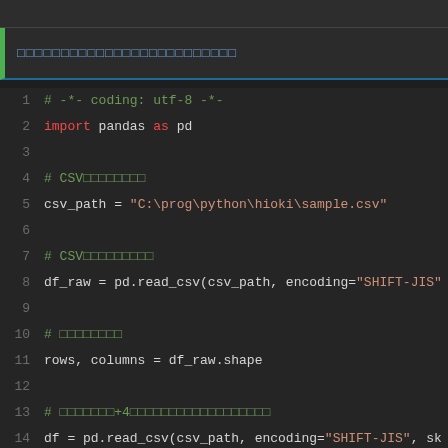[Figure (screenshot): Dark-themed code editor screenshot showing Python code. Top bar, a header block with a green left border and blue bottom border showing Japanese text as boxes, followed by a code block with line numbers 1–16+ showing Python pandas CSV reading code.]
1  # -*- coding: utf-8 -*-
2  import pandas as pd
3
4  # CSV□□□□□□□□
5  csv_path = "C:\prog\python\hioki\sample.csv"
6
7  # CSV□□□□□□□□□
8  df_raw = pd.read_csv(csv_path, encoding="SHIFT-JIS"
9
10  # □□□□□□□□
11  rows, columns = df_raw.shape
12
13  # □□□□□□□+4□□□□□□□□□□□□□□□□□□
14  df = pd.read_csv(csv_path, encoding="SHIFT-JIS", sk
15
16  # □□□□□□□□□Time□□□□□